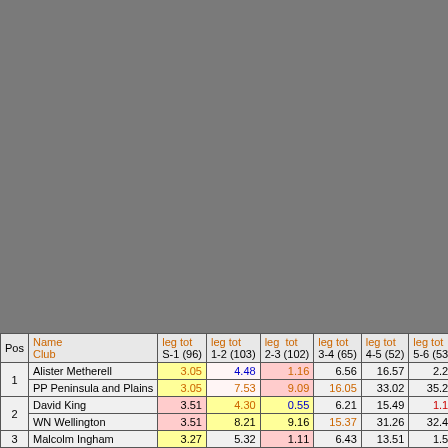| Pos | Name / Club | leg tot S-1 (96) | leg tot 1-2 (103) | leg tot 2-3 (102) | leg tot 3-4 (65) | leg tot 4-5 (52) | leg tot 5-6 (53) |
| --- | --- | --- | --- | --- | --- | --- | --- |
| 1 | Alister Metherell / PP Peninsula and Plains | 3.05 / 3.05 | 4.48 / 7.53 | 1.16 / 9.09 | 6.56 / 16.05 | 16.57 / 33.02 | 2.2 / 35.2 |
| 2 | David King / WN Wellington | 3.51 / 3.51 | 4.30 / 8.21 | 0.55 / 9.16 | 6.21 / 15.37 | 15.49 / 31.26 | 1.1 / 32.4 |
| 3 | Malcolm Ingham | 3.27 | 5.32 | 1.11 | 6.43 | 13.51 | 1.5 |